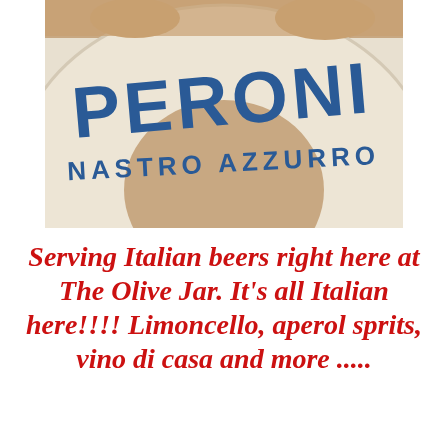[Figure (photo): Peroni Nastro Azzurro logo on a curved white surface (life preserver ring), with 'PERONI' in large bold blue letters and 'NASTRO AZZURRO' in smaller blue letters below, hands visible at top]
Serving Italian beers right here at The Olive Jar. It's all Italian here!!!! Limoncello, aperol sprits, vino di casa and more .....